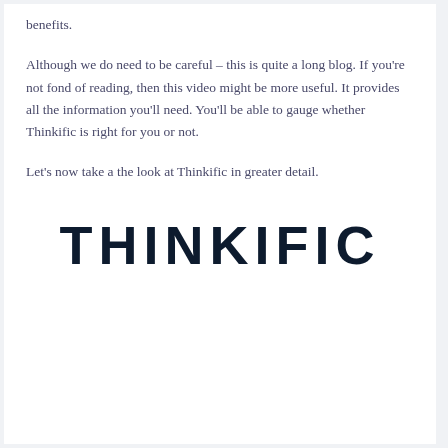benefits.
Although we do need to be careful – this is quite a long blog. If you're not fond of reading, then this video might be more useful. It provides all the information you'll need. You'll be able to gauge whether Thinkific is right for you or not.
Let's now take a the look at Thinkific in greater detail.
[Figure (logo): Thinkific logo in large dark uppercase sans-serif letters]